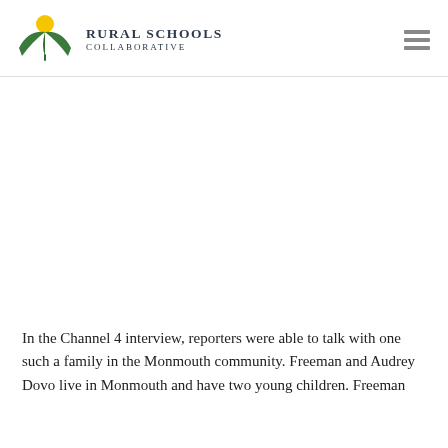RURAL SCHOOLS COLLABORATIVE
In the Channel 4 interview, reporters were able to talk with one such a family in the Monmouth community. Freeman and Audrey Dovo live in Monmouth and have two young children. Freeman